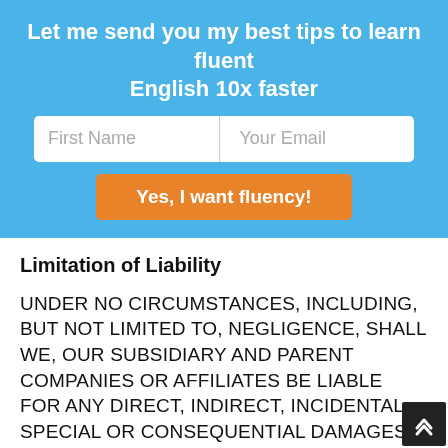Let me send you my best tips to learn fluent English 10x faster
[Figure (screenshot): Email signup form with First Name and Your Email input fields and an orange 'Yes, I want fluency!' button on a blue background]
Limitation of Liability
UNDER NO CIRCUMSTANCES, INCLUDING, BUT NOT LIMITED TO, NEGLIGENCE, SHALL WE, OUR SUBSIDIARY AND PARENT COMPANIES OR AFFILIATES BE LIABLE FOR ANY DIRECT, INDIRECT, INCIDENTAL, SPECIAL OR CONSEQUENTIAL DAMAGES THAT RESULT FROM THE USE OF, OR THE INABILITY TO USE, THE SITE, INCLUDING OUR MESSAGING, BLOGS, COMMENTS OF OTHERS, BOOKS, EMAILS, PRODUCTS, OR